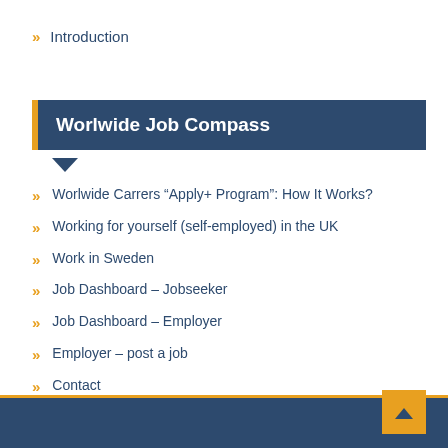Introduction
Worlwide Job Compass
Worlwide Carrers “Apply+ Program”: How It Works?
Working for yourself (self-employed) in the UK
Work in Sweden
Job Dashboard – Jobseeker
Job Dashboard – Employer
Employer – post a job
Contact